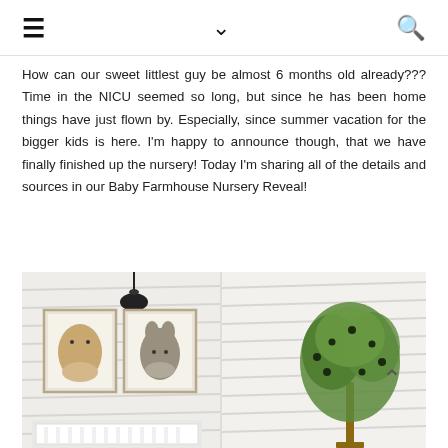≡  ∨  🔍
How can our sweet littlest guy be almost 6 months old already??? Time in the NICU seemed so long, but since he has been home things have just flown by. Especially, since summer vacation for the bigger kids is here. I'm happy to announce though, that we have finally finished up the nursery! Today I'm sharing all of the details and sources in our Baby Farmhouse Nursery Reveal!
[Figure (photo): Baby nursery with shiplap walls, two framed animal prints (cow and donkey), a black pendant light, white crib, and a small olive tree in a pot on the right side. A chevron up arrow is visible on the right.]